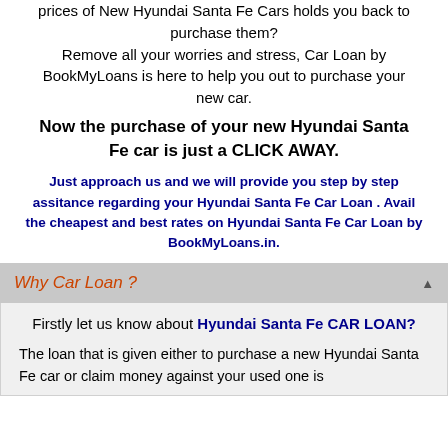prices of New Hyundai Santa Fe Cars holds you back to purchase them?
Remove all your worries and stress, Car Loan by BookMyLoans is here to help you out to purchase your new car.
Now the purchase of your new Hyundai Santa Fe car is just a CLICK AWAY.
Just approach us and we will provide you step by step assitance regarding your Hyundai Santa Fe Car Loan . Avail the cheapest and best rates on Hyundai Santa Fe Car Loan by BookMyLoans.in.
Why Car Loan ?
Firstly let us know about Hyundai Santa Fe CAR LOAN?
The loan that is given either to purchase a new Hyundai Santa Fe car or claim money against your used one is